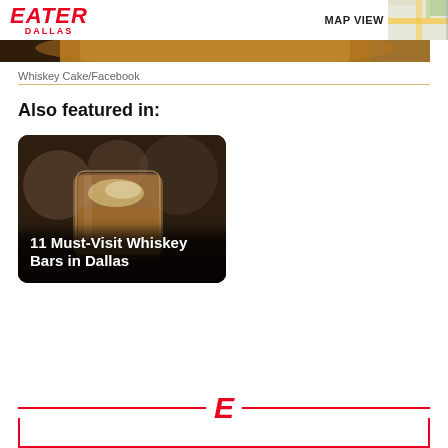EATER DALLAS
[Figure (photo): Top portion of a food/dish photo cropped at the top of the page, showing what appears to be a baked dish]
Whiskey Cake/Facebook
Also featured in:
[Figure (photo): Card image showing a whiskey glass with ice and lemon, with overlay text '11 Must-Visit Whiskey Bars in Dallas']
[Figure (logo): Eater 'E' logo at the bottom center with red horizontal lines on each side and a red bordered box below]